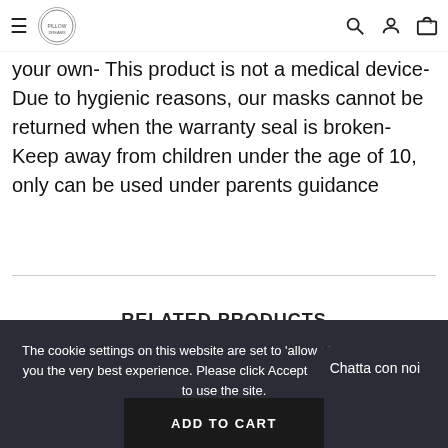Navigation bar with hamburger menu, logo, search icon, account icon, and cart icon
your own- This product is not a medical device- Due to hygienic reasons, our masks cannot be returned when the warranty seal is broken- Keep away from children under the age of 10, only can be used under parents guidance
RELATED PRODUCTS
The cookie settings on this website are set to 'allow all cookies' to give you the very best experience. Please click Accept Cookies to continue to use the site.
PRIVACY POLICY   ACCEPT COOKIES
Chatta con noi
ADD TO CART